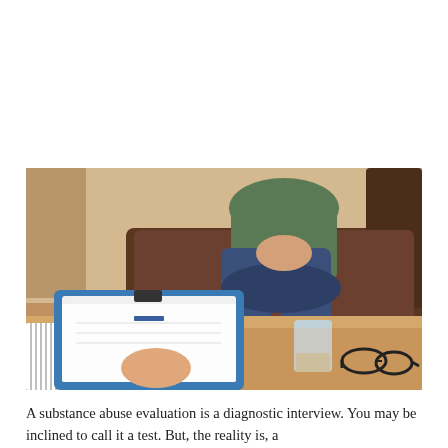[Figure (photo): A counselor or therapist writing on a clipboard at a table, with a patient (wearing green shirt and jeans) sitting across on a brown leather couch with hands clasped. A glass of water and eyeglasses are visible on the wooden table in the foreground.]
A substance abuse evaluation is a diagnostic interview. You may be inclined to call it a test. But, the reality is, a